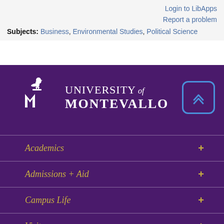Login to LibApps
Report a problem
Subjects: Business, Environmental Studies, Political Science
[Figure (logo): University of Montevallo logo with falcon mascot on letter M, white on purple background]
Academics +
Admissions + Aid +
Campus Life +
Visit +